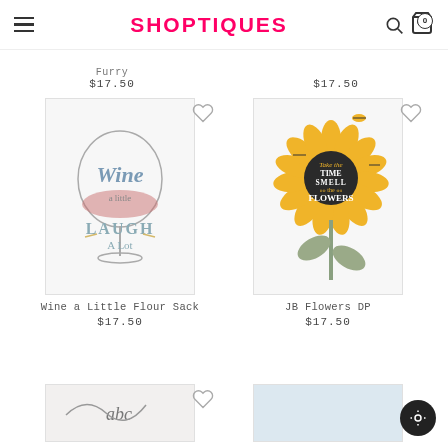SHOPTIQUES
Furry $17.50
$17.50
[Figure (photo): Kitchen flour sack towel with wine glass graphic and text 'Wine a Little Laugh a Lot']
Wine a Little Flour Sack
$17.50
[Figure (photo): Kitchen towel with sunflower graphic and text 'Take Time to Smell the Flowers' with bees]
JB Flowers DP
$17.50
[Figure (photo): Partial view of another product at bottom left]
[Figure (photo): Partial view of another product at bottom right]